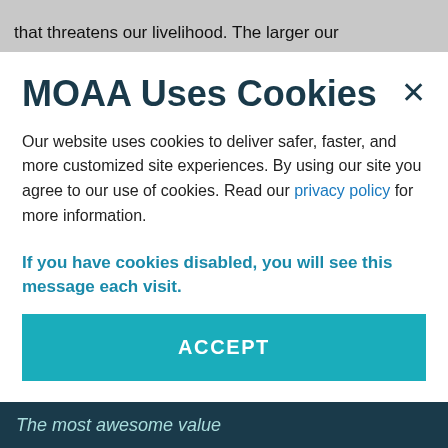that threatens our livelihood. The larger our
MOAA Uses Cookies
Our website uses cookies to deliver safer, faster, and more customized site experiences. By using our site you agree to our use of cookies. Read our privacy policy for more information.
If you have cookies disabled, you will see this message each visit.
ACCEPT
The most awesome value